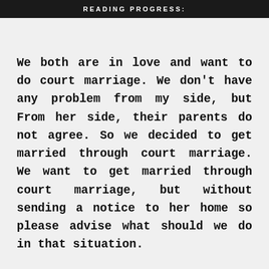READING PROGRESS:
We both are in love and want to do court marriage. We don't have any problem from my side, but From her side, their parents do not agree. So we decided to get married through court marriage. We want to get married through court marriage, but without sending a notice to her home so please advise what should we do in that situation.
You can get co[ASK QUESTION]der the Special Marriage Act. According to section 12, the